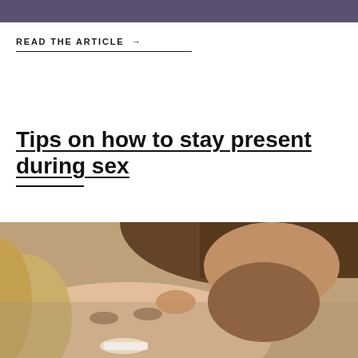READ THE ARTICLE →
Tips on how to stay present during sex
[Figure (photo): Close-up photo of a couple kissing or about to kiss; a smiling woman with blonde hair lies on her back while a dark-haired man leans over her from above.]